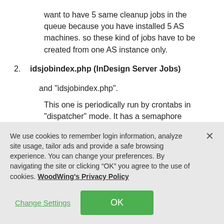want to have 5 same cleanup jobs in the queue because you have installed 5 AS machines. so these kind of jobs have to be created from one AS instance only.
2. idsjobindex.php (InDesign Server Jobs)
and "idsjobindex.php".
This one is periodically run by crontabs in "dispatcher" mode. It has a semaphore protection for that, so there will be only one dispatching for
We use cookies to remember login information, analyze site usage, tailor ads and provide a safe browsing experience. You can change your preferences. By navigating the site or clicking “OK” you agree to the use of cookies. WoodWing's Privacy Policy
Change Settings
OK